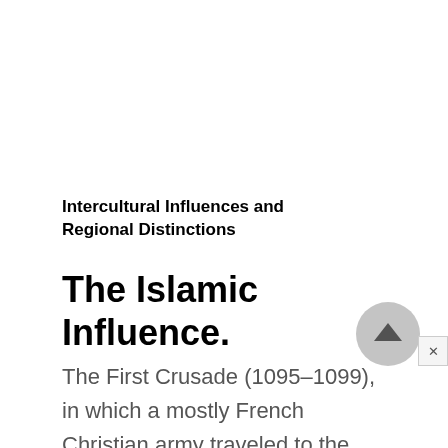Intercultural Influences and Regional Distinctions
The Islamic Influence.
The First Crusade (1095–1099), in which a mostly French Christian army traveled to the Holy Land to recover it from Islamic control, had markedly